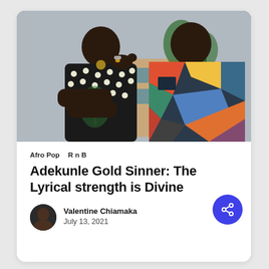[Figure (photo): Two men posing together wearing colorful patterned shirts — one in a black and white polka dot shirt with a tropical print, the other in a multicolored geometric/abstract patterned shirt]
Afro Pop   R n B
Adekunle Gold Sinner: The Lyrical strength is Divine
Valentine Chiamaka
July 13, 2021